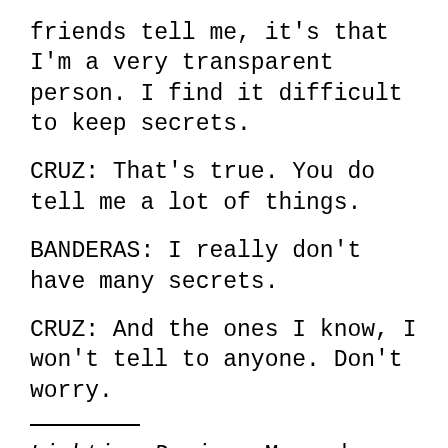friends tell me, it's that I'm a very transparent person. I find it difficult to keep secrets.
CRUZ: That's true. You do tell me a lot of things.
BANDERAS: I really don't have many secrets.
CRUZ: And the ones I know, I won't tell to anyone. Don't worry.
Lighting Design: Marc de Miguel